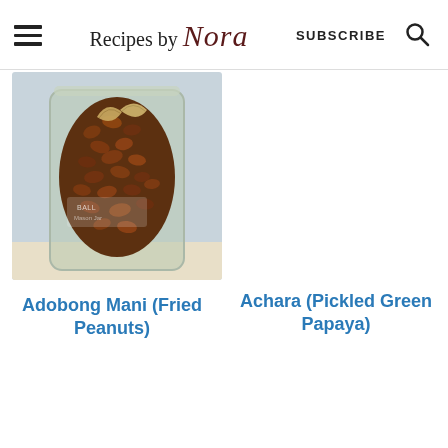Recipes by Nora  SUBSCRIBE  🔍
[Figure (photo): A glass jar filled with brown fried peanuts and garlic chips, closeup photo on light blue background]
Adobong Mani (Fried Peanuts)
Achara (Pickled Green Papaya)